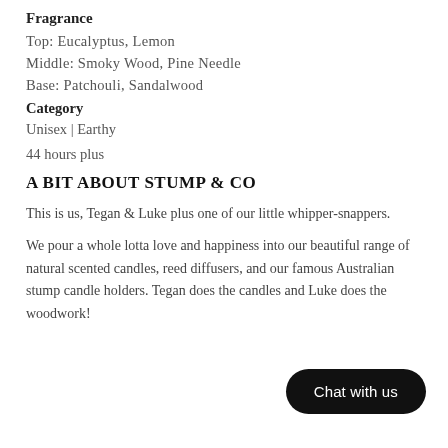Fragrance
Top: Eucalyptus, Lemon
Middle: Smoky Wood, Pine Needle
Base: Patchouli, Sandalwood
Category
Unisex | Earthy
44 hours plus
A BIT ABOUT STUMP & CO
This is us, Tegan & Luke plus one of our little whipper-snappers.
We pour a whole lotta love and happiness into our beautiful range of natural scented candles, reed diffusers, and our famous Australian stump candle holders. Tegan does the candles and Luke does the woodwork!